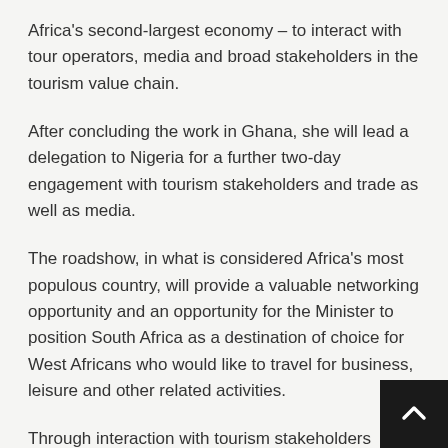Africa's second-largest economy – to interact with tour operators, media and broad stakeholders in the tourism value chain.
After concluding the work in Ghana, she will lead a delegation to Nigeria for a further two-day engagement with tourism stakeholders and trade as well as media.
The roadshow, in what is considered Africa's most populous country, will provide a valuable networking opportunity and an opportunity for the Minister to position South Africa as a destination of choice for West Africans who would like to travel for business, leisure and other related activities.
Through interaction with tourism stakeholders including tour operators and the media, the Minister will gain better insights on how the South African tourism industry can be better responsive to the needs of West African travellers